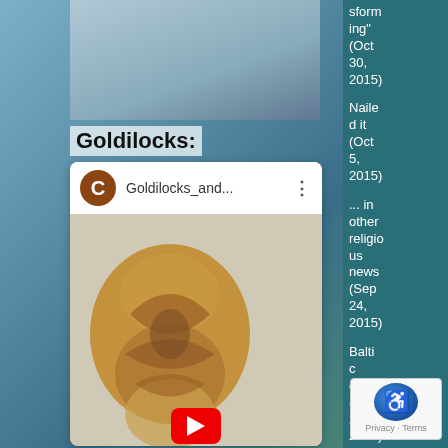[Figure (screenshot): Top portion of a photo showing a mountain/sky background]
Goldilocks:
[Figure (screenshot): A phone screen showing a YouTube video player with a 'C' avatar, title 'Goldilocks_and...' with menu dots, and a video thumbnail showing an ornate golden/brown carved decorative object with a red YouTube play button]
sforming" (Oct 30, 2015)
Nailed it (Oct 5, 2015)
... in other religious news (Sep 24, 2015)
Baltic on (Au 22, 2015)